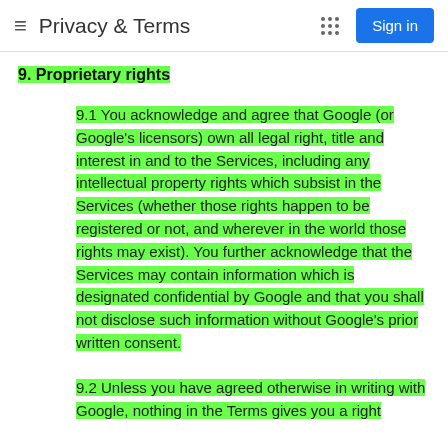Privacy & Terms
9. Proprietary rights
9.1 You acknowledge and agree that Google (or Google's licensors) own all legal right, title and interest in and to the Services, including any intellectual property rights which subsist in the Services (whether those rights happen to be registered or not, and wherever in the world those rights may exist). You further acknowledge that the Services may contain information which is designated confidential by Google and that you shall not disclose such information without Google's prior written consent.
9.2 Unless you have agreed otherwise in writing with Google, nothing in the Terms gives you a right